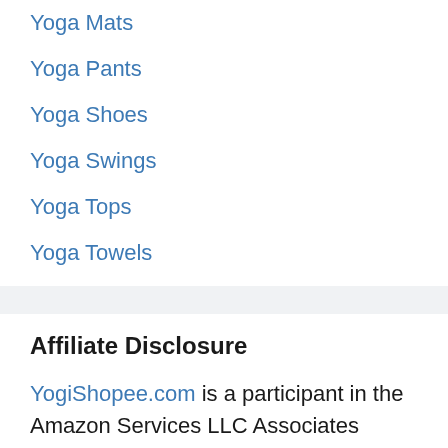Yoga Mats
Yoga Pants
Yoga Shoes
Yoga Swings
Yoga Tops
Yoga Towels
Affiliate Disclosure
YogiShopee.com is a participant in the Amazon Services LLC Associates Program, an affiliate advertising program designed to provide a means for sites to earn advertising fees by advertising and linking